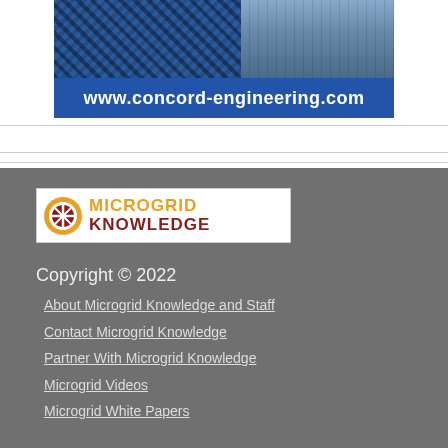[Figure (photo): Banner image showing solar panels on the left and a building/warehouse on the right, with a blue bar at the bottom showing the URL www.concord-engineering.com]
[Figure (logo): Microgrid Knowledge logo with orange and red circular icon on left, and MICROGRID KNOWLEDGE text in orange and dark red]
Copyright © 2022
About Microgrid Knowledge and Staff
Contact Microgrid Knowledge
Partner With Microgrid Knowledge
Microgrid Videos
Microgrid White Papers